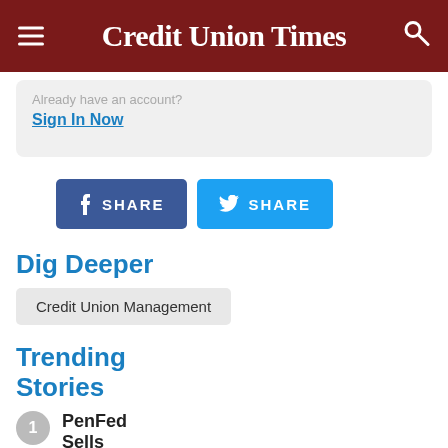Credit Union Times
Already have an account?
Sign In Now
[Figure (screenshot): Facebook SHARE button and Twitter SHARE button side by side]
Dig Deeper
Credit Union Management
Trending Stories
PenFed Sells